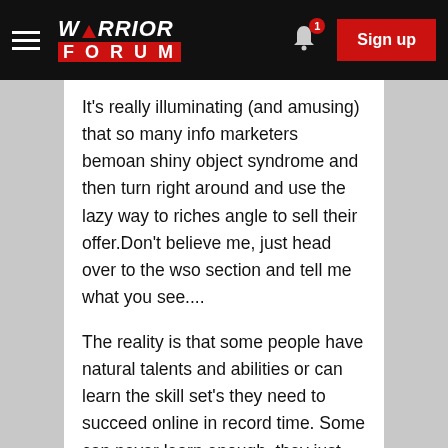Warrior Forum — Sign up
It's really illuminating (and amusing) that so many info marketers bemoan shiny object syndrome and then turn right around and use the lazy way to riches angle to sell their offer.Don't believe me, just head over to the wso section and tell me what you see....
The reality is that some people have natural talents and abilities or can learn the skill set's they need to succeed online in record time. Some can never learn enough, they just don't have it in them.